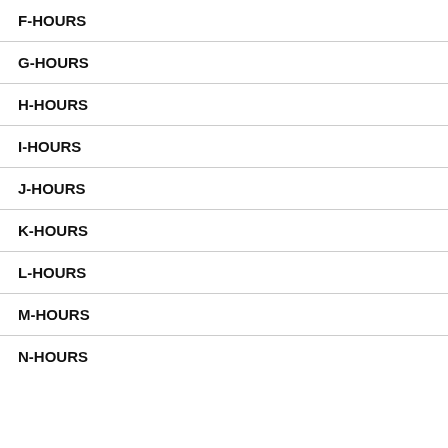F-HOURS
G-HOURS
H-HOURS
I-HOURS
J-HOURS
K-HOURS
L-HOURS
M-HOURS
N-HOURS